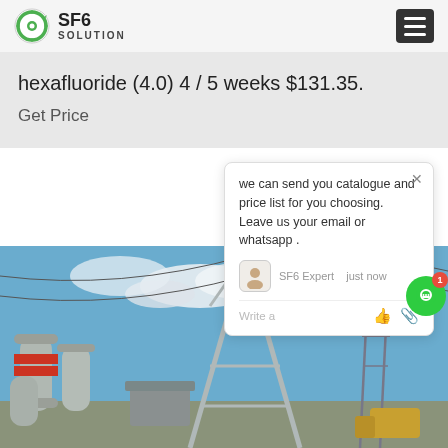SF6 SOLUTION
hexafluoride (4.0) 4 / 5 weeks $131.35.
Get Price
[Figure (screenshot): Chat popup widget showing message: 'we can send you catalogue and price list for you choosing. Leave us your email or whatsapp .' with SF6 Expert avatar and 'just now' timestamp, Write a message input with thumbs up and paperclip icons.]
[Figure (photo): Electrical substation with large metal A-frame tower structure, high voltage equipment, gray cylindrical insulators with red fittings in foreground, power lines and another transmission tower visible in background against blue sky with clouds.]